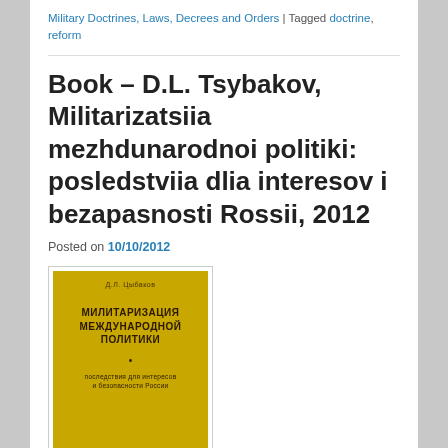Military Doctrines, Laws, Decrees and Orders | Tagged doctrine, reform
Book – D.L. Tsybakov, Militarizatsiia mezhdunarodnoi politiki: posledstviia dlia interesov i bezapasnosti Rossii, 2012
Posted on 10/10/2012
[Figure (photo): Book cover of D.L. Tsybakov's Militarizatsiia Mezhdunarodnoi Politiki, a gold/yellow colored book with Russian text title and subtitle]